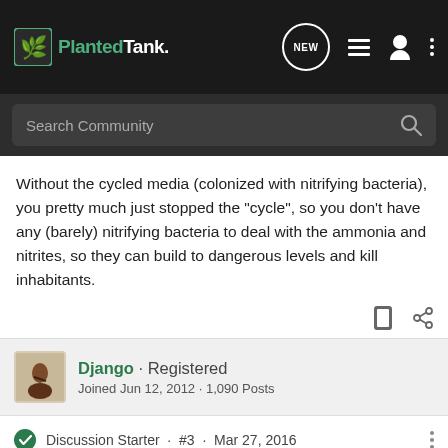PlantedTank.net
Without the cycled media (colonized with nitrifying bacteria), you pretty much just stopped the "cycle", so you don't have any (barely) nitrifying bacteria to deal with the ammonia and nitrites, so they can build to dangerous levels and kill inhabitants.
Django · Registered
Joined Jun 12, 2012 · 1,090 Posts
Discussion Starter · #3 · Mar 27, 2016
WaterLife said: